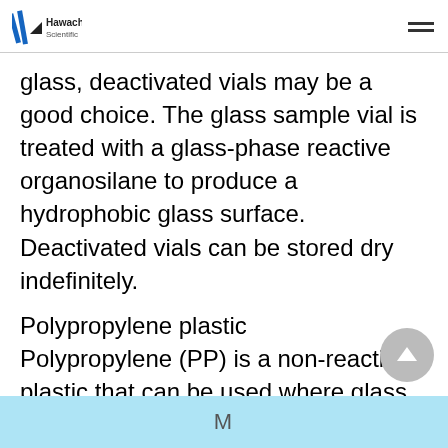Hawach Scientific [logo] [hamburger menu]
glass, deactivated vials may be a good choice. The glass sample vial is treated with a glass-phase reactive organosilane to produce a hydrophobic glass surface. Deactivated vials can be stored dry indefinitely.
Polypropylene plastic
Polypropylene (PP) is a non-reactive plastic that can be used where glass is not suitable. Polypropylene sample vials can
M